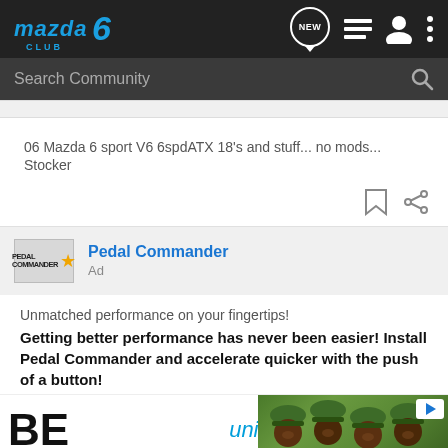Mazda6 Club - Nav bar with logo, search, and icons
Search Community
06 Mazda 6 sport V6 6spdATX 18's and stuff... no mods... Stocker
Pedal Commander
Ad
Unmatched performance on your fingertips!
Getting better performance has never been easier! Install Pedal Commander and accelerate quicker with the push of a button!
[Figure (screenshot): Unicef advertisement banner with logo and photo of smiling children wearing green hats, with a play button overlay and partial percentage text]